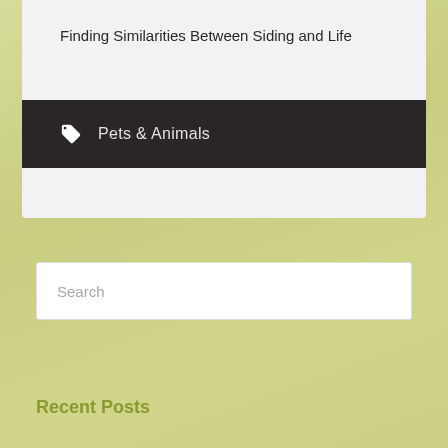Finding Similarities Between Siding and Life
Pets & Animals
Search
Recent Posts